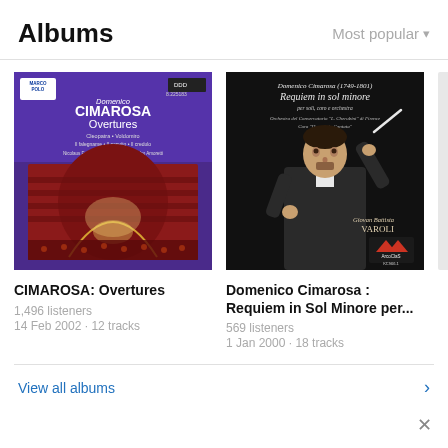Albums
Most popular
[Figure (photo): Album cover for CIMAROSA: Overtures by Marco Polo label, showing purple/violet cover with opera house interior image]
CIMAROSA: Overtures
1,496 listeners
14 Feb 2002 · 12 tracks
[Figure (photo): Album cover for Domenico Cimarosa: Requiem in Sol Minore per..., black cover with conductor holding baton, ArcoClas label KC966.1]
Domenico Cimarosa : Requiem in Sol Minore per...
569 listeners
1 Jan 2000 · 18 tracks
View all albums